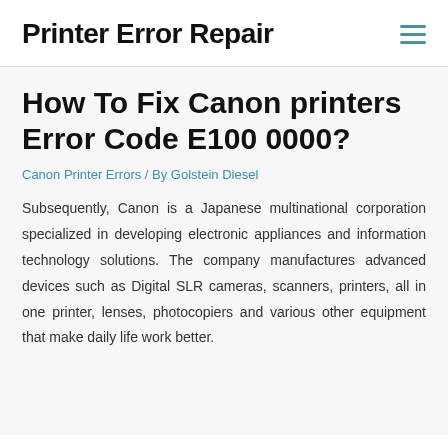Printer Error Repair
How To Fix Canon printers Error Code E100 0000?
Canon Printer Errors / By Golstein Diesel
Subsequently, Canon is a Japanese multinational corporation specialized in developing electronic appliances and information technology solutions. The company manufactures advanced devices such as Digital SLR cameras, scanners, printers, all in one printer, lenses, photocopiers and various other equipment that make daily life work better.